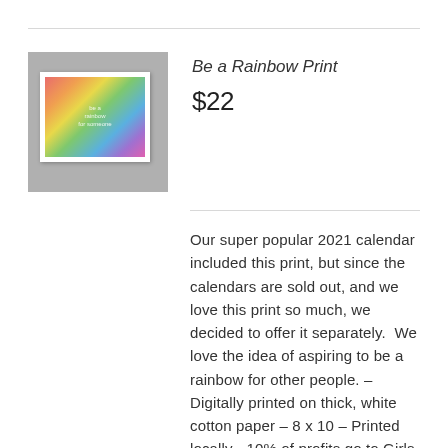[Figure (photo): Photo of a framed colorful rainbow print artwork displayed against a grey background with other frames]
Be a Rainbow Print
$22
Our super popular 2021 calendar included this print, but since the calendars are sold out, and we love this print so much, we decided to offer it separately.  We love the idea of aspiring to be a rainbow for other people. – Digitally printed on thick, white cotton paper – 8 x 10 – Printed locally - 10% of profits go to Girls, Inc., an organization supporting a new generation of leaders.